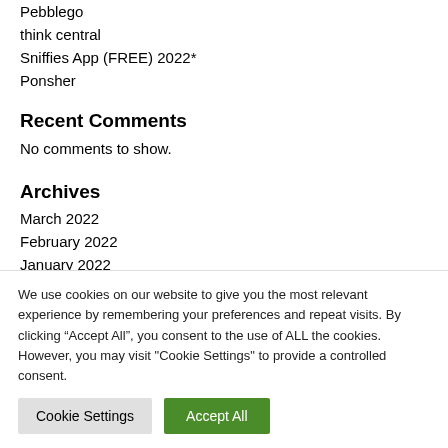Pebblego
think central
Sniffies App (FREE) 2022*
Ponsher
Recent Comments
No comments to show.
Archives
March 2022
February 2022
January 2022
We use cookies on our website to give you the most relevant experience by remembering your preferences and repeat visits. By clicking “Accept All”, you consent to the use of ALL the cookies. However, you may visit "Cookie Settings" to provide a controlled consent.